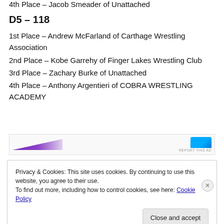4th Place – Jacob Smeader of Unattached
D5 – 118
1st Place – Andrew McFarland of Carthage Wrestling Association
2nd Place – Kobe Garrehy of Finger Lakes Wrestling Club
3rd Place – Zachary Burke of Unattached
4th Place – Anthony Argentieri of COBRA WRESTLING ACADEMY
[Figure (other): Advertisement banner with purple and cyan graphic elements and 'REPORT THIS AD' text]
Privacy & Cookies: This site uses cookies. By continuing to use this website, you agree to their use.
To find out more, including how to control cookies, see here: Cookie Policy
Close and accept